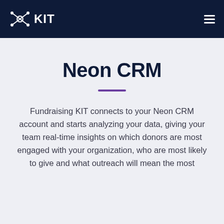KIT
Neon CRM
Fundraising KIT connects to your Neon CRM account and starts analyzing your data, giving your team real-time insights on which donors are most engaged with your organization, who are most likely to give and what outreach will mean the most